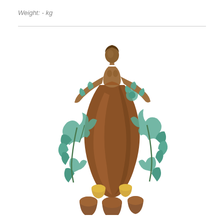Weight: - kg
[Figure (photo): Bronze sculpture of a female figure emerging from a large vase/amphora, decorated with turquoise/verdigris patinated leaves and grape vines. Small bronze jugs are arranged at the base. The figure is rendered in warm brown bronze with teal-green botanical elements.]